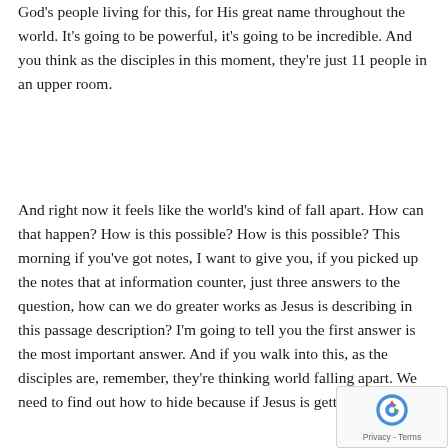God's people living for this, for His great name throughout the world. It's going to be powerful, it's going to be incredible. And you think as the disciples in this moment, they're just 11 people in an upper room.
And right now it feels like the world's kind of fall apart. How can that happen? How is this possible? How is this possible? This morning if you've got notes, I want to give you, if you picked up the notes that at information counter, just three answers to the question, how can we do greater works as Jesus is describing in this passage description? I'm going to tell you the first answer is the most important answer. And if you walk into this, as the disciples are, remember, they're thinking world falling apart. We need to find out how to hide because if Jesus is getting killed and they'll kill t...
[Figure (other): reCAPTCHA badge with logo and Privacy - Terms text]